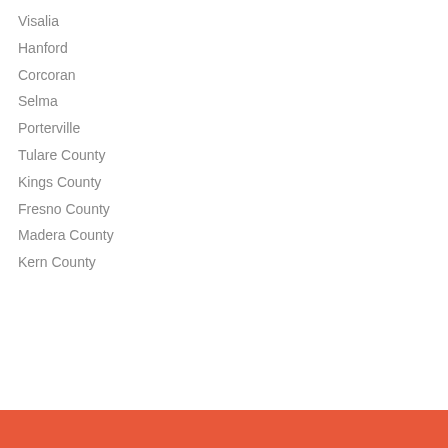Visalia
Hanford
Corcoran
Selma
Porterville
Tulare County
Kings County
Fresno County
Madera County
Kern County